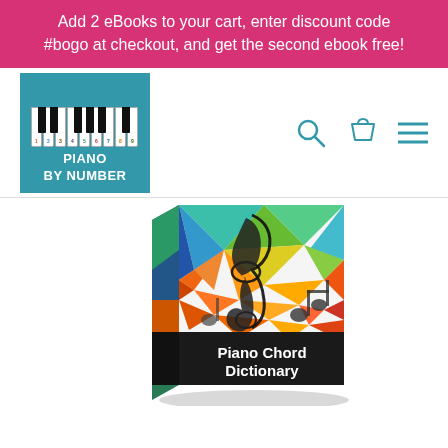Add 2 eBooks to your cart, enter discount code #bogo at checkout, and get the second ebook free!
[Figure (logo): Piano By Number logo: teal square with piano keyboard illustration and numbered keys, text PIANO BY NUMBER below]
[Figure (illustration): 3D book box product image of Piano Chord Dictionary ebook, with colorful geometric/triangle pattern background and musical notes/treble clef silhouette, title text Piano Chord Dictionary on black lower portion]